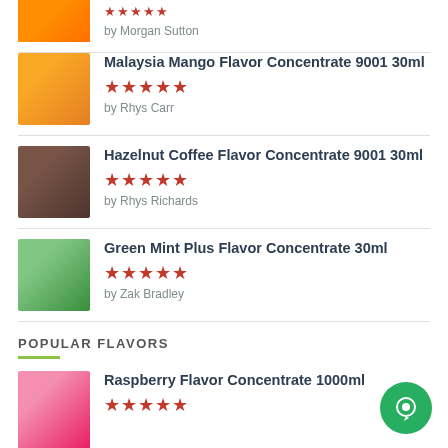[Figure (photo): Partial product image of a juice/drink visible at top]
by Morgan Sutton
[Figure (photo): Mango product image]
Malaysia Mango Flavor Concentrate 9001 30ml
★★★★★
by Rhys Carr
[Figure (photo): Hazelnut coffee product image]
Hazelnut Coffee Flavor Concentrate 9001 30ml
★★★★★
by Rhys Richards
[Figure (photo): Green mint product image]
Green Mint Plus Flavor Concentrate 30ml
★★★★★
by Zak Bradley
POPULAR FLAVORS
[Figure (photo): Raspberry product image]
Raspberry Flavor Concentrate 1000ml
★★★★★